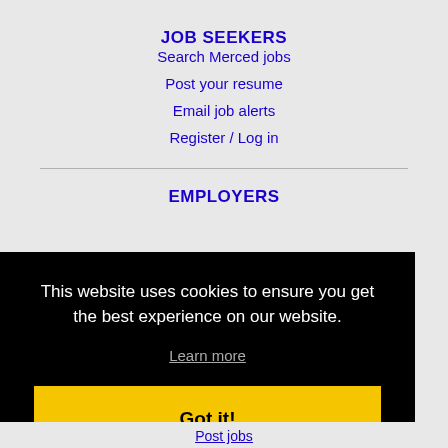JOB SEEKERS
Search Merced jobs
Post your resume
Email job alerts
Register / Log in
EMPLOYERS
This website uses cookies to ensure you get the best experience on our website.
Learn more
Got it!
Post jobs